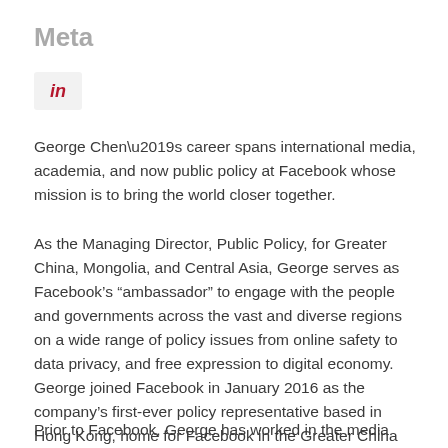Meta
[Figure (logo): LinkedIn logo icon showing 'in' in italic bold red text on a light gray background box]
George Chen’s career spans international media, academia, and now public policy at Facebook whose mission is to bring the world closer together.
As the Managing Director, Public Policy, for Greater China, Mongolia, and Central Asia, George serves as Facebook’s “ambassador” to engage with the people and governments across the vast and diverse regions on a wide range of policy issues from online safety to data privacy, and free expression to digital economy. George joined Facebook in January 2016 as the company’s first-ever policy representative based in Hong Kong, home for Facebook in the Greater China region.
Prior to Facebook, George has worked in the media sector